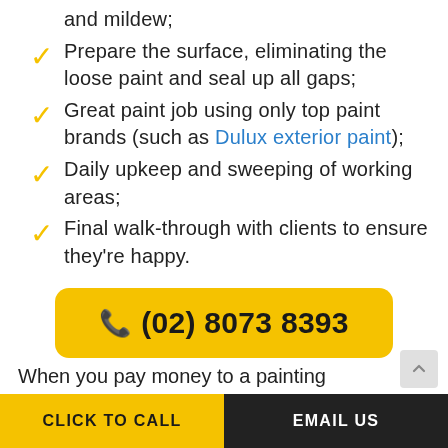and mildew;
Prepare the surface, eliminating the loose paint and seal up all gaps;
Great paint job using only top paint brands (such as Dulux exterior paint);
Daily upkeep and sweeping of working areas;
Final walk-through with clients to ensure they're happy.
📞 (02) 8073 8393
When you pay money to a painting
CLICK TO CALL | EMAIL US